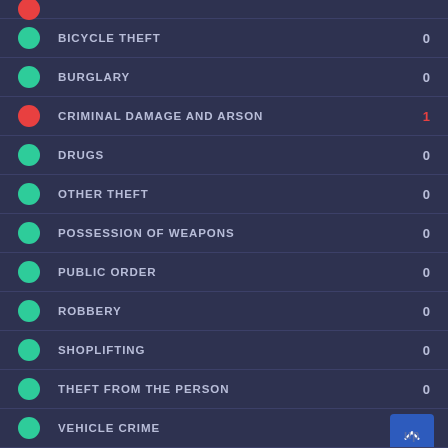BICYCLE THEFT — 0
BURGLARY — 0
CRIMINAL DAMAGE AND ARSON — 1
DRUGS — 0
OTHER THEFT — 0
POSSESSION OF WEAPONS — 0
PUBLIC ORDER — 0
ROBBERY — 0
SHOPLIFTING — 0
THEFT FROM THE PERSON — 0
VEHICLE CRIME
VIOLENCE AND SEXUAL OFFENCES — 3